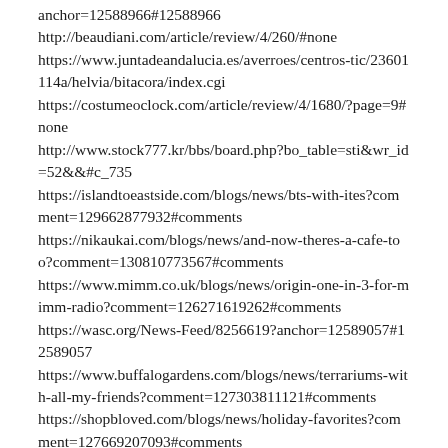anchor=12588966#12588966
http://beaudiani.com/article/review/4/260/#none
https://www.juntadeandalucia.es/averroes/centros-tic/23601114a/helvia/bitacora/index.cgi
https://costumeoclock.com/article/review/4/1680/?page=9#none
http://www.stock777.kr/bbs/board.php?bo_table=sti&wr_id=52&&c_735
https://islandtoeastside.com/blogs/news/bts-with-ites?comment=129662877932#comments
https://nikaukai.com/blogs/news/and-now-theres-a-cafe-too?comment=130810773567#comments
https://www.mimm.co.uk/blogs/news/origin-one-in-3-for-mimm-radio?comment=126271619262#comments
https://wasc.org/News-Feed/8256619?anchor=12589057#12589057
https://www.buffalogardens.com/blogs/news/terrariums-with-all-my-friends?comment=127303811121#comments
https://shopbloved.com/blogs/news/holiday-favorites?comment=127669207093#comments
https://moderncraftwine.com/blogs/news/the-extra-mile?comment=130810708031#comments
https://www.vbcityfc.com/blogs/news/a-message-from-steven-wagoner-vb-city-fc-president?comment=131306914133#comments